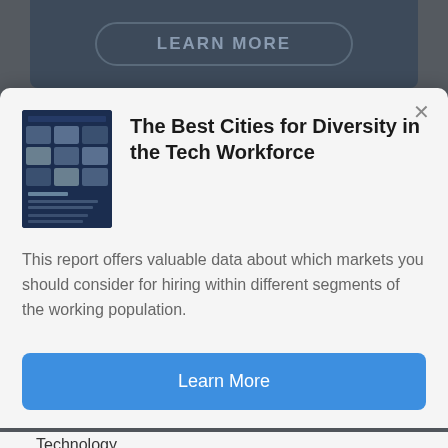[Figure (screenshot): Dark background webpage with a 'LEARN MORE' button at the top]
The Best Cities for Diversity in the Tech Workforce
This report offers valuable data about which markets you should consider for hiring within different segments of the working population.
Learn More
Technology
Solutions
Company